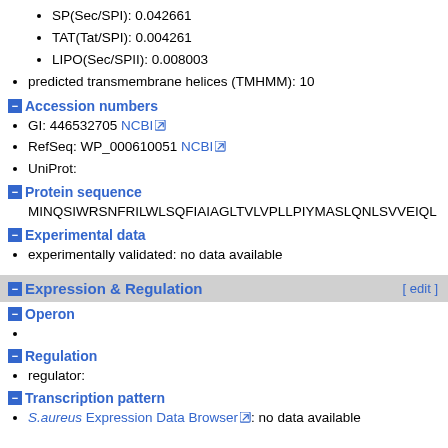SP(Sec/SPI): 0.042661
TAT(Tat/SPI): 0.004261
LIPO(Sec/SPII): 0.008003
predicted transmembrane helices (TMHMM): 10
Accession numbers
GI: 446532705 NCBI
RefSeq: WP_000610051 NCBI
UniProt:
Protein sequence
MINQSIWRSNFRILWLSQFIAIAGLTVLVPLLPIYMASLQNLSVVEIQL
Experimental data
experimentally validated: no data available
Expression & Regulation
Operon
Regulation
regulator:
Transcription pattern
S.aureus Expression Data Browser: no data available